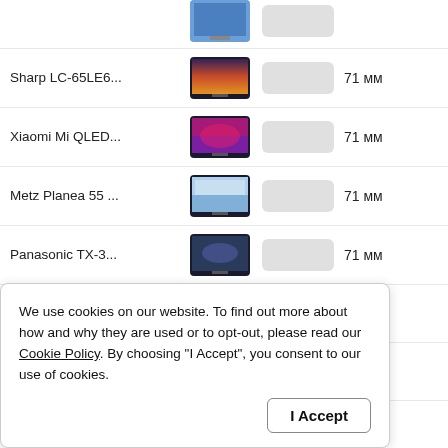| Product | Image | Price | Size |
| --- | --- | --- | --- |
| Sharp LC-65LE6... | [image] |  | 71 мм |
| Xiaomi Mi QLED... | [image] |  | 71 мм |
| Metz Planea 55 ... | [image] |  | 71 мм |
| Panasonic TX-3... | [image] |  | 71 мм |
| Panasonic TX-3... |  |  | 71 мм |
| Panasonic TX-3... |  |  | 71 мм |
| Panasonic TX-3... |  |  | 71 мм |
We use cookies on our website. To find out more about how and why they are used or to opt-out, please read our Cookie Policy. By choosing "I Accept", you consent to our use of cookies.